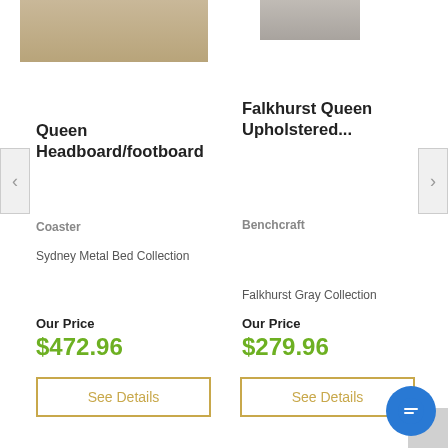[Figure (photo): Partial product image of a rustic/metal bed frame (left product)]
[Figure (photo): Partial product image of Falkhurst upholstered bed (right product)]
Queen Headboard/footboard
Falkhurst Queen Upholstered...
Coaster
Benchcraft
Sydney Metal Bed Collection
Falkhurst Gray Collection
Our Price
$472.96
Our Price
$279.96
See Details
See Details